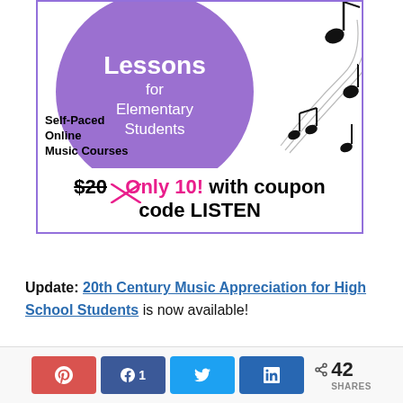[Figure (illustration): Advertisement for Self-Paced Online Music Courses — Music Lessons for Elementary Students. Purple circle with white text 'Lessons for Elementary Students', musical notes on the right, text 'Self-Paced Online Music Courses' at bottom left. Price line: $20 (strikethrough) Only 10! with coupon code LISTEN.]
Update: 20th Century Music Appreciation for High School Students is now available!
[Figure (infographic): Social share bar with Pinterest, Facebook (1), Twitter, LinkedIn buttons and share count of 42 SHARES]